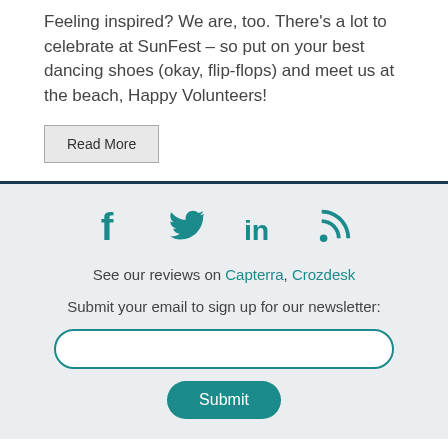Feeling inspired? We are, too. There's a lot to celebrate at SunFest – so put on your best dancing shoes (okay, flip-flops) and meet us at the beach, Happy Volunteers!
Read More
See our reviews on Capterra, Crozdesk
Submit your email to sign up for our newsletter:
Submit